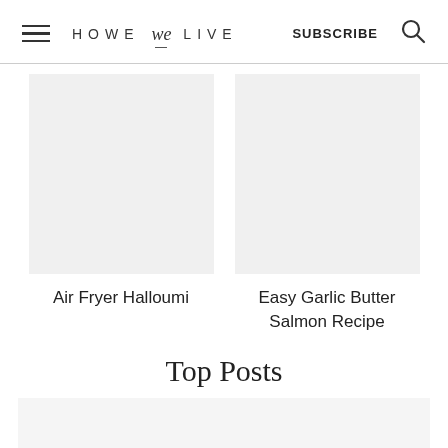HOWE we LIVE  SUBSCRIBE
Air Fryer Halloumi
Easy Garlic Butter Salmon Recipe
Top Posts